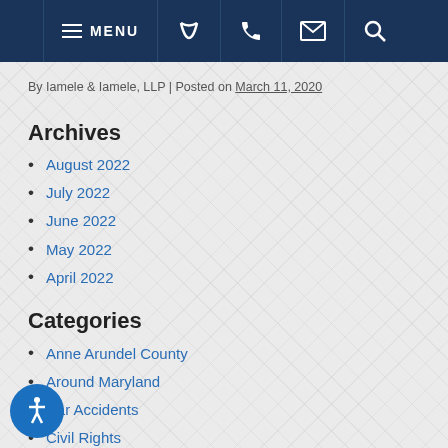MENU [phone] [email] [search]
By Iamele & Iamele, LLP | Posted on March 11, 2020
Archives
August 2022
July 2022
June 2022
May 2022
April 2022
Categories
Anne Arundel County
Around Maryland
Car Accidents
Civil Rights
Consumer Law
Courts and the Justice System
Crime Victim
Criminal Law